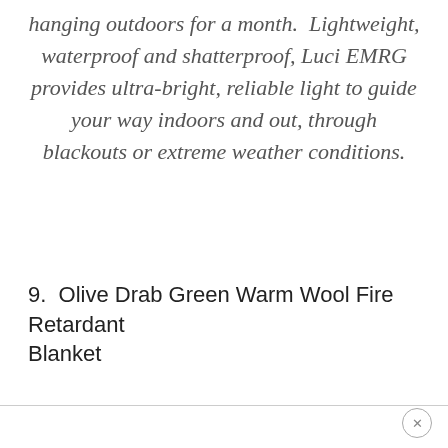hanging outdoors for a month.  Lightweight, waterproof and shatterproof, Luci EMRG provides ultra-bright, reliable light to guide your way indoors and out, through blackouts or extreme weather conditions.
9.  Olive Drab Green Warm Wool Fire Retardant Blanket